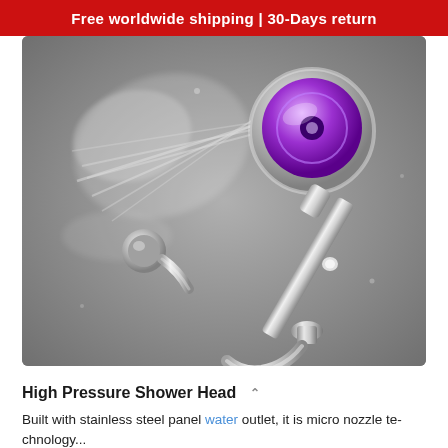Free worldwide shipping | 30-Days return
[Figure (photo): A chrome high-pressure shower head with a purple/violet round face spraying water at an angle, mounted on a chrome adjustable rail with a wall bracket, photographed against a grey background with water spray visible.]
High Pressure Shower Head
Built with stainless steel panel water outlet, it is micro nozzle technology...